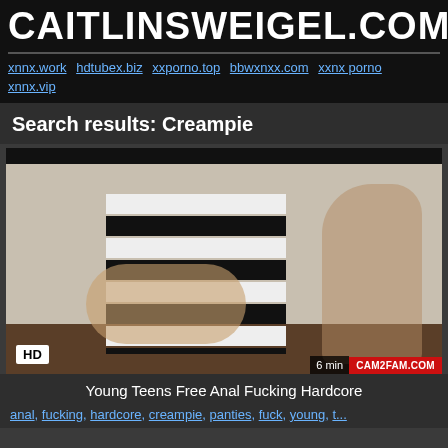CAITLINSWEIGEL.COM
xnnx.work hdtubex.biz xxporno.top bbwxnxx.com xxnx porno xnnx.vip
Search results: Creampie
[Figure (screenshot): Video thumbnail showing a person, with HD badge bottom-left, CAM2FAM.COM watermark and 6 min duration badge bottom-right]
Young Teens Free Anal Fucking Hardcore
anal, fucking, hardcore, creampie, panties, fuck, young, t...